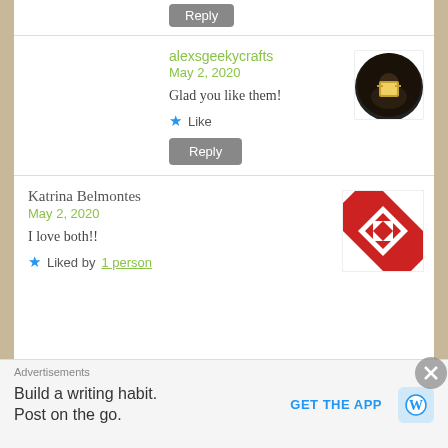[Figure (screenshot): Reply button at top of comment section]
alexsgeekycrafts
May 2, 2020
[Figure (photo): User avatar photo for alexsgeekycrafts, circular crop showing person with glowing lantern]
Glad you like them!
★ Like
[Figure (screenshot): Reply button]
Katrina Belmontes
May 2, 2020
[Figure (illustration): Avatar for Katrina Belmontes, red and white geometric quilt pattern square]
I love both!!
★ Liked by 1 person
Advertisements
Build a writing habit. Post on the go.
GET THE APP